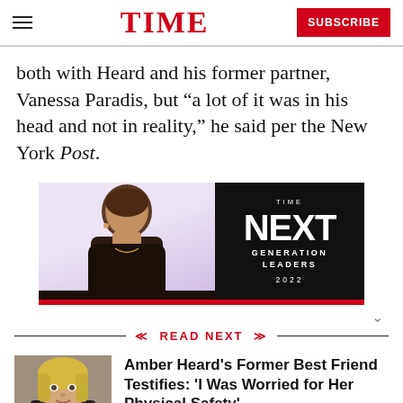TIME | SUBSCRIBE
both with Heard and his former partner, Vanessa Paradis, but “a lot of it was in his head and not in reality,” he said per the New York Post.
[Figure (photo): TIME Next Generation Leaders 2022 advertisement banner featuring a young Black man in a dark shirt against a light purple background, with TIME Next Generation Leaders 2022 text on a black panel]
READ NEXT
[Figure (photo): Thumbnail photo of a blonde woman (Amber Heard) in a dark jacket]
Amber Heard's Former Best Friend Testifies: 'I Was Worried for Her Physical Safety'